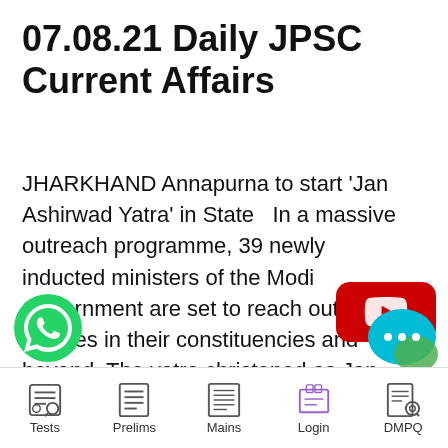07.08.21 Daily JPSC Current Affairs
JHARKHAND Annapurna to start ‘Jan Ashirwad Yatra’ in State   In a massive outreach programme, 39 newly inducted ministers of the Modi Government are set to reach out to masses in their constituencies and beyond. The yatra christened as Jan Ashirwad Yatra is scheduled to begin on August 16, the death anniversary of former Prime ... Read more
[Figure (logo): YouTube play button red icon overlay]
[Figure (logo): WhatsApp green phone icon]
[Figure (logo): Chat bubble icon with three dots]
Tests   Prelims   Mains   Login   DMPQ